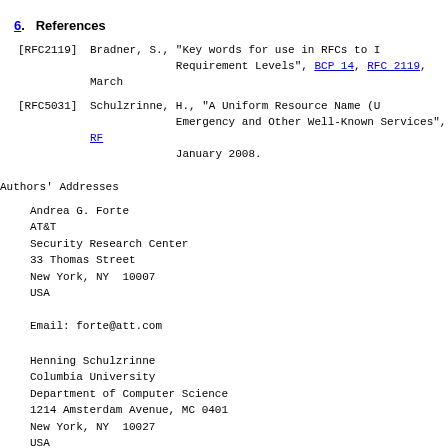6. References
[RFC2119]   Bradner, S., "Key words for use in RFCs to Indicate Requirement Levels", BCP 14, RFC 2119, March 1997.
[RFC5031]   Schulzrinne, H., "A Uniform Resource Name (URN) for Emergency and Other Well-Known Services", RFC 5031, January 2008.
Authors' Addresses
Andrea G. Forte
AT&T
Security Research Center
33 Thomas Street
New York, NY  10007
USA

Email: forte@att.com
Henning Schulzrinne
Columbia University
Department of Computer Science
1214 Amsterdam Avenue, MC 0401
New York, NY  10027
USA

Email: hes@cs.columbia.edu